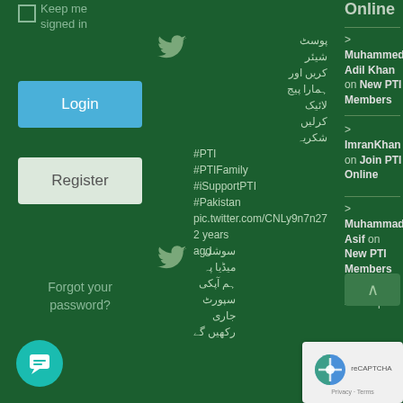Keep me signed in
Login
Register
Forgot your password?
پوسٹ شیئر کریں اور ہمارا پیج لائیک کرلیں شکریہ #PTI #PTIFamily #iSupportPTI #Pakistan pic.twitter.com/CNLy9n7n27 2 years ago
سوشل میڈیا پہ ہم آپکی سپورٹ جاری رکھیں گے
Online
> Muhammed Adil Khan on New PTI Members
> ImranKhan on Join PTI Online
> Muhammad Asif on New PTI Members
> Dr aqsa